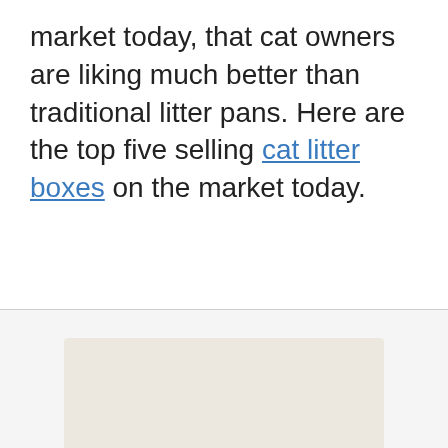market today, that cat owners are liking much better than traditional litter pans. Here are the top five selling cat litter boxes on the market today.
[Figure (photo): Partial view of a cat litter box product, beige/cream colored, shown at the bottom of the page]